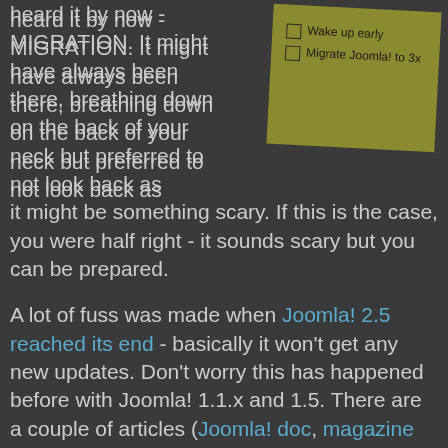heard it by now - MIGRATION. It might have always been there, breathing down on the back of your neck but preferred to not look back as it might be something scary. If this is the case, you were half right - it sounds scary but you can be prepared.
[Figure (illustration): A sticky note (olive/dark yellow colored) with handwritten checklist: checkbox 'Wake up early' and checkbox 'Migrate Joomla! to 3x']
A lot of fuss was made when Joomla! 2.5 reached its end - basically it won't get any new updates. Don't worry this has happened before with Joomla! 1.1.x and 1.5. There are a couple of articles (Joomla! doc, magazine article) out there that will explain the benefits of walking down the migration path, but none of them state the obvious - costs and a considerable headache will be associated with this action.